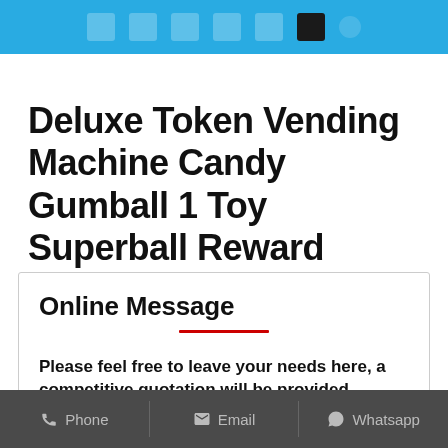Deluxe Token Vending Machine Candy Gumball 1 Toy Superball Reward Vendor Prizes
Online Message
Please feel free to leave your needs here, a competitive quotation will be provided
Phone  Email  Whatsapp